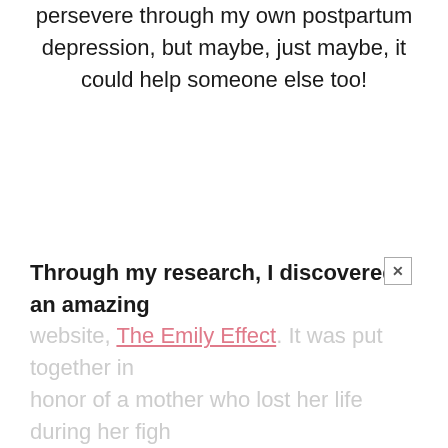persevere through my own postpartum depression, but maybe, just maybe, it could help someone else too!
Through my research, I discovered an amazing website, The Emily Effect. It was put together in honor of a mother who lost her life during her figh